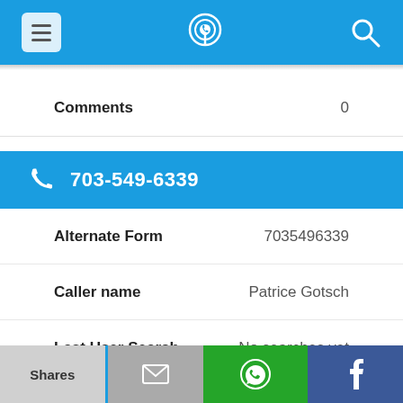App header with menu, phone lookup logo, and search icons
Comments  0
703-549-6339
Alternate Form  7035496339
Caller name  Patrice Gotsch
Last User Search  No searches yet
Comments  0
Shares  [email]  [WhatsApp]  [Facebook]